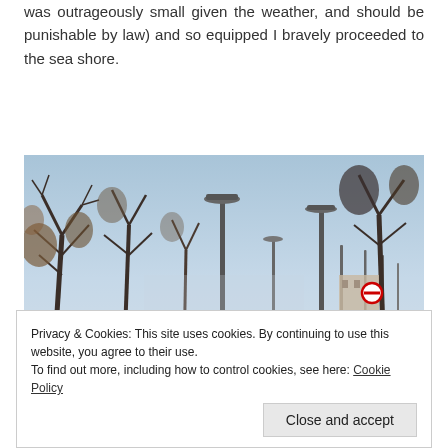was outrageously small given the weather, and should be punishable by law) and so equipped I bravely proceeded to the sea shore.
[Figure (photo): Outdoor winter scene with bare trees, street lights/lamp posts, and a pale blue-grey overcast sky. Snow is visible. A road or pathway is visible in the background along with some buildings and a circular road sign.]
Privacy & Cookies: This site uses cookies. By continuing to use this website, you agree to their use.
To find out more, including how to control cookies, see here: Cookie Policy